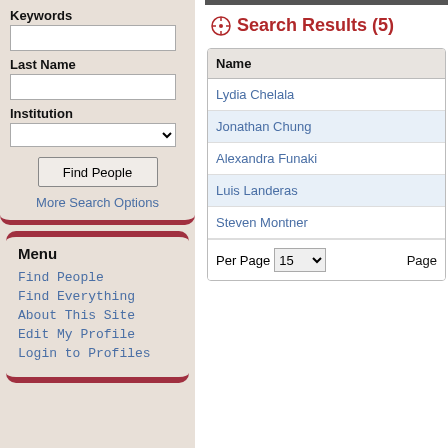Keywords
Last Name
Institution
Find People
More Search Options
Menu
Find People
Find Everything
About This Site
Edit My Profile
Login to Profiles
Search Results (5)
| Name |
| --- |
| Lydia Chelala |
| Jonathan Chung |
| Alexandra Funaki |
| Luis Landeras |
| Steven Montner |
Per Page  15    Page